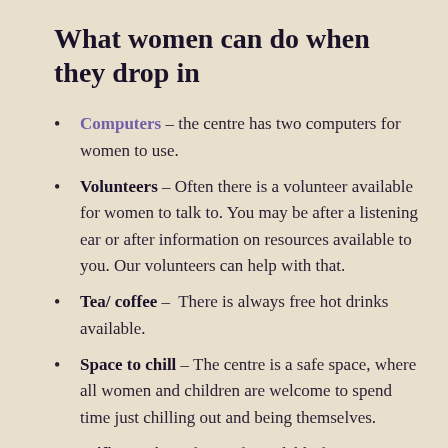What women can do when they drop in
Computers – the centre has two computers for women to use.
Volunteers – Often there is a volunteer available for women to talk to. You may be after a listening ear or after information on resources available to you. Our volunteers can help with that.
Tea/ coffee – There is always free hot drinks available.
Space to chill – The centre is a safe space, where all women and children are welcome to spend time just chilling out and being themselves.
Wifi – We have free wifi available for